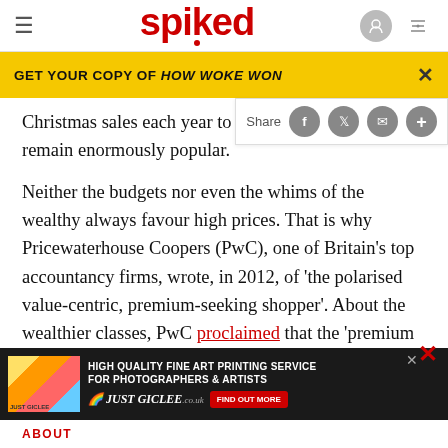spiked
GET YOUR COPY OF HOW WOKE WON
Christmas sales each year to kno… remain enormously popular.
Neither the budgets nor even the whims of the wealthy always favour high prices. That is why Pricewaterhouse Coopers (PwC), one of Britain's top accountancy firms, wrote, in 2012, of 'the polarised value-centric, premium-seeking shopper'. About the wealthier classes, PwC proclaimed that the 'premium shopper' was 'becoming increasingly frugal in certain…
[Figure (screenshot): Advertisement banner for High Quality Fine Art Printing Service for Photographers & Artists - Just Giclee]
ABOUT